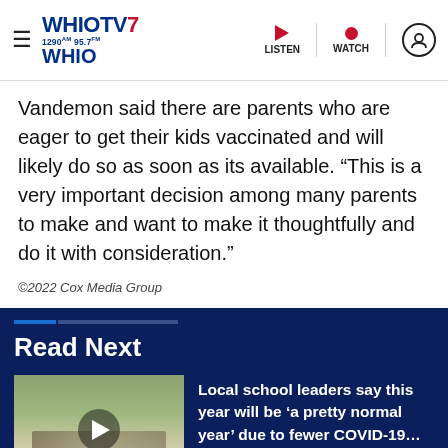WHIOTV7 WHIO 1290AM 95.7FM — LISTEN | WATCH
Vandemon said there are parents who are eager to get their kids vaccinated and will likely do so as soon as its available. “This is a very important decision among many parents to make and want to make it thoughtfully and do it with consideration.”
©2022 Cox Media Group
Read Next
[Figure (screenshot): Thumbnail image of a video showing people outdoors with a play button overlay]
Local school leaders say this year will be ‘a pretty normal year’ due to fewer COVID-19…
[Figure (infographic): Advertisement banner: Gem City — LEARN HOW TO GET YOURS — NCUA]